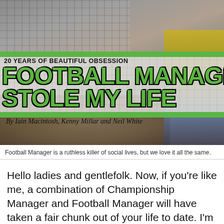[Figure (photo): Book cover image showing a laptop keyboard and a football crowd in the background with green banner overlays. Title reads '20 YEARS OF BEAUTIFUL OBSESSION / FOOTBALL MANAGER STOLE MY LIFE' by Iain Macintosh, Kenny Millar and Neil White.]
Football Manager is a ruthless killer of social lives, but we love it all the same.
Hello ladies and gentlefolk. Now, if you're like me, a combination of Championship Manager and Football Manager will have taken a fair chunk out of your life to date. I'm pretty sure that I can put down slightly